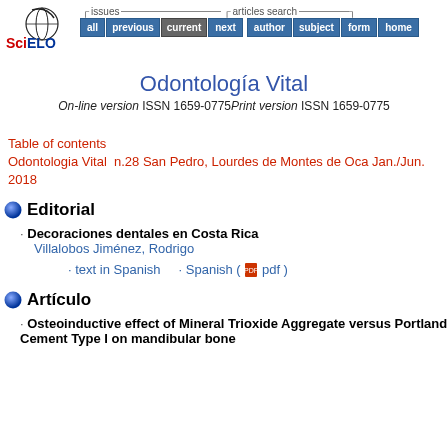[Figure (logo): SciELO logo with stylized globe and red SciELO text]
issues  all  previous  current  next  articles search  author  subject  form  home
Odontología Vital
On-line version ISSN 1659-0775 Print version ISSN 1659-0775
Table of contents
Odontologia Vital  n.28 San Pedro, Lourdes de Montes de Oca Jan./Jun. 2018
Editorial
Decoraciones dentales en Costa Rica
Villalobos Jiménez, Rodrigo
· text in Spanish  · Spanish ( pdf )
Artículo
Osteoinductive effect of Mineral Trioxide Aggregate versus Portland Cement Type I on mandibular bone